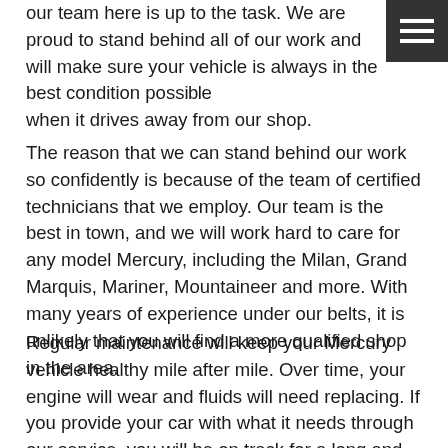[Figure (other): Hamburger menu icon — three horizontal white lines on a dark gray square background, positioned top-right corner]
our team here is up to the task. We are proud to stand behind all of our work and will make sure your vehicle is always in the best condition possible when it drives away from our shop.
The reason that we can stand behind our work so confidently is because of the team of certified technicians that we employ. Our team is the best in town, and we will work hard to care for any model Mercury, including the Milan, Grand Marquis, Mariner, Mountaineer and more. With many years of experience under our belts, it is unlikely that you will find a more qualified shop in the area.
Regular maintenance will keep your Mercury vehicle healthy mile after mile. Over time, your engine will wear and fluids will need replacing. If you provide your car with what it needs through our service, you will be on track for a long and reliable life from your